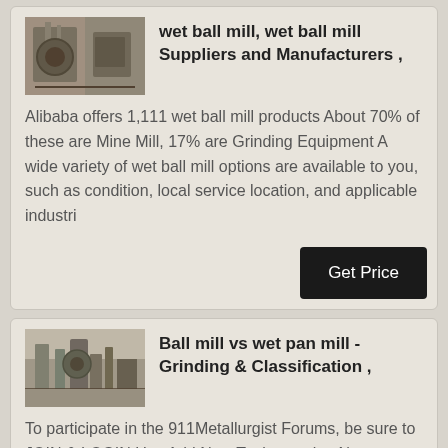wet ball mill, wet ball mill Suppliers and Manufacturers ,
Alibaba offers 1,111 wet ball mill products About 70% of these are Mine Mill, 17% are Grinding Equipment A wide variety of wet ball mill options are available to you, such as condition, local service location, and applicable industri
Ball mill vs wet pan mill - Grinding & Classification ,
To participate in the 911Metallurgist Forums, be sure to JOIN & LOGIN Use Add New Topic to ask a New Question/Discussion about Grinding OR Select a Topic that Interests you Use Add Reply = to Reply/Participate in a